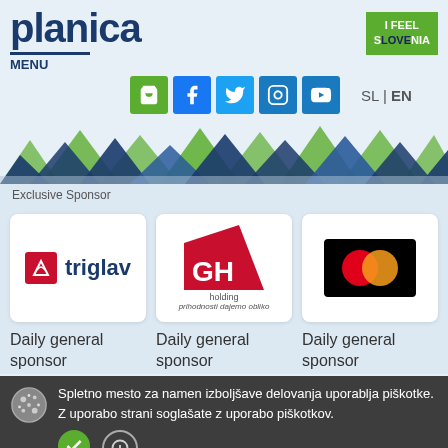[Figure (logo): Planica logo in dark blue large text]
[Figure (logo): I Feel Slovenia logo on green background]
MENU
[Figure (illustration): Social media icons: cart, facebook, twitter, instagram, youtube]
SL | EN
[Figure (illustration): Mountain silhouette decoration in blue and green]
Exclusive Sponsor
[Figure (logo): Triglav insurance logo - red square with G icon and triglav text]
[Figure (logo): GH Holding logo - red shape with GH letters]
[Figure (logo): Mastercard logo - two overlapping circles red and yellow on black]
Daily general sponsor
Daily general sponsor
Daily general sponsor
Spletno mesto za namen izboljšave delovanja uporablja piškotke. Z uporabo strani soglašate z uporabo piškotkov.